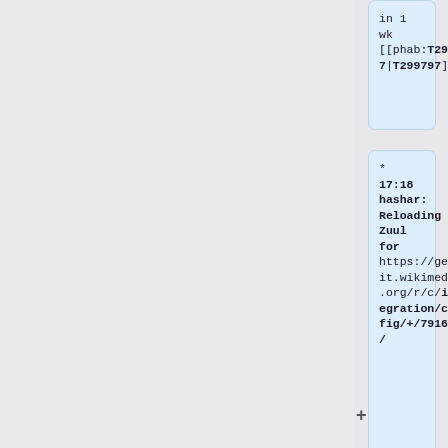in 1 wk [[phab:T299797|T299797]]
* 17:18 hashar: Reloading Zuul for https://gerrit.wikimedia.org/r/c/integration/config/+/791644/
* 13:16 taavi: added user Zoranzoki21 to extension-HidePrefix gerrit